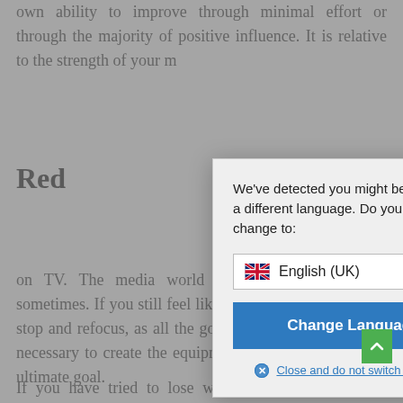own ability to improve through minimal effort or through the majority of positive influence. It is relative to the strength of your m
Red
Reduc... u start seeing... kly), it will be... city to achieve... tools to use... people often... ody fit and a... ulfilled natura... at guy on TV... The media world can be such a handful sometimes. If you still feel like you can't, it's essential to stop and refocus, as all the good emotions you have are necessary to create the equipment needed to reach your ultimate goal.
If you have tried to lose weight, and maintain your weight
[Figure (screenshot): Language change modal dialog with dropdown showing 'English (UK)' with UK flag, a blue 'Change Language' button, and a 'Close and do not switch language' link. The modal sits over a blurred document page.]